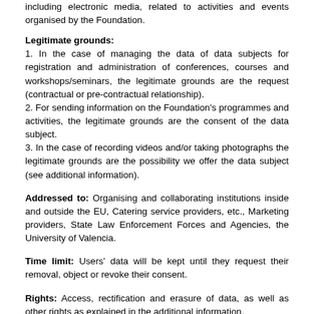including electronic media, related to activities and events organised by the Foundation.
Legitimate grounds:
1. In the case of managing the data of data subjects for registration and administration of conferences, courses and workshops/seminars, the legitimate grounds are the request (contractual or pre-contractual relationship).
2. For sending information on the Foundation's programmes and activities, the legitimate grounds are the consent of the data subject.
3. In the case of recording videos and/or taking photographs the legitimate grounds are the possibility we offer the data subject (see additional information).
Addressed to: Organising and collaborating institutions inside and outside the EU, Catering service providers, etc., Marketing providers, State Law Enforcement Forces and Agencies, the University of Valencia.
Time limit: Users' data will be kept until they request their removal, object or revoke their consent.
Rights: Access, rectification and erasure of data, as well as other rights as explained in the additional information.
Additional information: In the course of the activity graphic material (photographs, videos, etc.) may be obtained that will subsequently be published through websites or social media. However, in order to offer